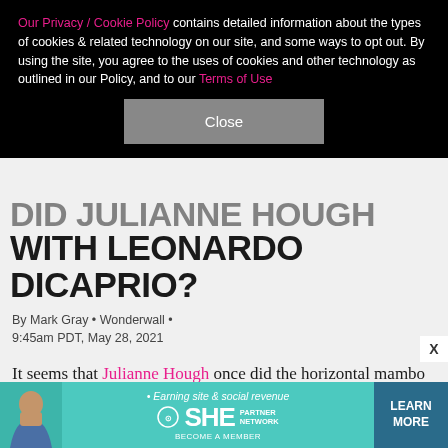Our Privacy / Cookie Policy contains detailed information about the types of cookies & related technology on our site, and some ways to opt out. By using the site, you agree to the uses of cookies and other technology as outlined in our Policy, and to our Terms of Use
Close
DID JULIANNE HOUGH SLEEP? WITH LEONARDO DICAPRIO?
By Mark Gray • Wonderwall • 9:45am PDT, May 28, 2021
It seems that Julianne Hough once did the horizontal mambo with Leonardo DiCaprio… or so says her niece.
Julianne's teen niece Star didn't say when the encounter occurred, but the claims harkened back to
[Figure (infographic): SHE Media Partner Network advertisement banner — teal background, woman photo on left, tagline 'Earning site & social revenue', SHE logo, LEARN MORE button in dark blue]